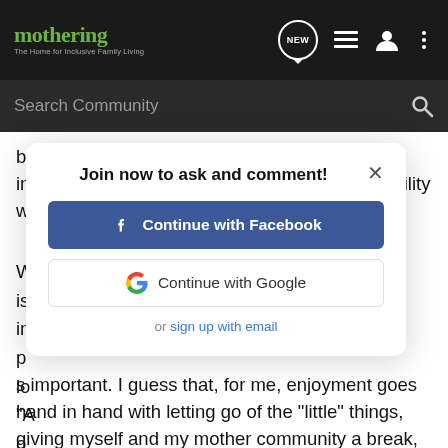[Figure (screenshot): Mothering website header with logo, NEW speech bubble icon, list icon, user icon, and dots menu icon on dark background]
[Figure (screenshot): Search Community bar on dark background with magnifying glass icon]
be thankful for the availability of c-sections, for instance, as a wonderful knowledge and possibility when medical need presents it's self.
W... is... in... p... lo... "A... o...
[Figure (screenshot): Modal popup: 'Join now to ask and comment!' with Continue with Facebook button, Continue with Google button, and 'or sign up with email' link]
s important. I guess that, for me, enjoyment goes hand in hand with letting go of the "little" things, giving myself and my mother community a break, and relaxing into being a mother.